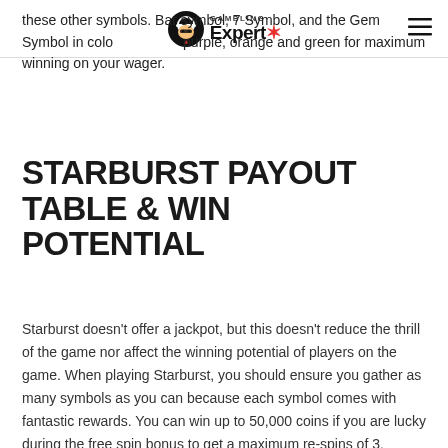Gambling Expert
these other symbols. Bar symbol, 7 Symbol, and the Gem Symbol in colors blue, purple, orange and green for maximum winning on your wager.
STARBURST PAYOUT TABLE & WIN POTENTIAL
Starburst doesn’t offer a jackpot, but this doesn’t reduce the thrill of the game nor affect the winning potential of players on the game. When playing Starburst, you should ensure you gather as many symbols as you can because each symbol comes with fantastic rewards. You can win up to 50,000 coins if you are lucky during the free spin bonus to get a maximum re-spins of 3.